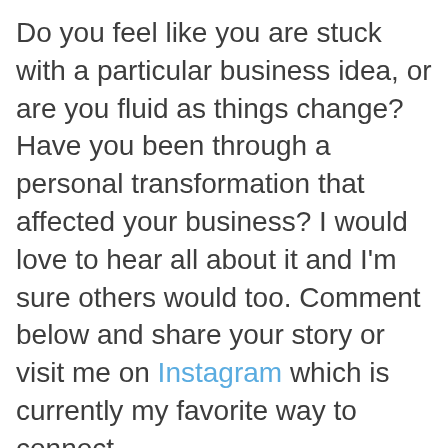Do you feel like you are stuck with a particular business idea, or are you fluid as things change? Have you been through a personal transformation that affected your business? I would love to hear all about it and I'm sure others would too. Comment below and share your story or visit me on Instagram which is currently my favorite way to connect.

You can also join my free online community to connect with more than 46,000 other health practitioners just like you to ask questions, share wins and